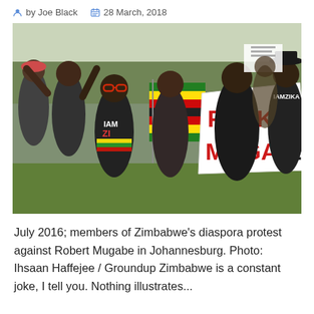by Joe Black   28 March, 2018
[Figure (photo): Protesters at a demonstration against Robert Mugabe. People holding a sign reading 'FUCKY MUGABE' and the Zimbabwean flag. A child in foreground wearing a black shirt reading 'I AM ZIM'. Outdoor setting, sunny day.]
July 2016; members of Zimbabwe's diaspora protest against Robert Mugabe in Johannesburg. Photo: Ihsaan Haffejee / Groundup Zimbabwe is a constant joke, I tell you. Nothing illustrates...